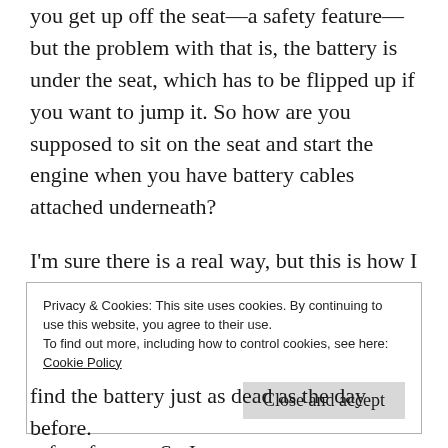you get up off the seat—a safety feature—but the problem with that is, the battery is under the seat, which has to be flipped up if you want to jump it. So how are you supposed to sit on the seat and start the engine when you have battery cables attached underneath?
I'm sure there is a real way, but this is how I did it. I stood in the driveway next to the mower with my Honda running and attached the cables to both the car and the mower. Me, with one foot on the break that has to be depressed for it to start—another safety feature. So I
Privacy & Cookies: This site uses cookies. By continuing to use this website, you agree to their use.
To find out more, including how to control cookies, see here:
Cookie Policy
Close and accept
find the battery just as dead as the day before.